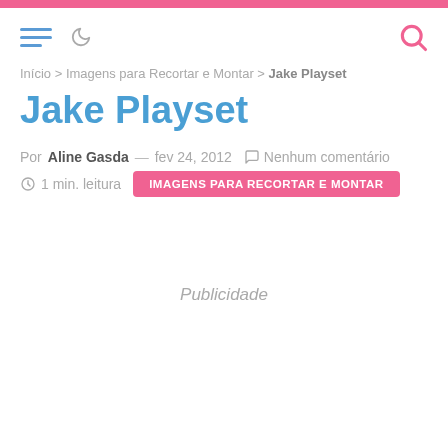Início > Imagens para Recortar e Montar > Jake Playset
Jake Playset
Por Aline Gasda — fev 24, 2012  Nenhum comentário
1 min. leitura  IMAGENS PARA RECORTAR E MONTAR
Publicidade